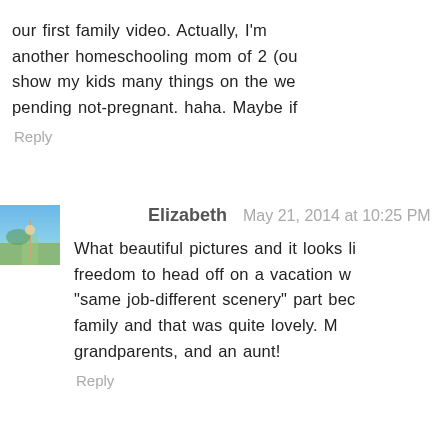our first family video. Actually, I'm another homeschooling mom of 2 (ou show my kids many things on the we pending not-pregnant. haha. Maybe if
Reply
[Figure (photo): Small square avatar photo of Elizabeth, showing a person outdoors on a path with blue sky and green scenery]
Elizabeth May 21, 2014 at 10:25 PM
What beautiful pictures and it looks li freedom to head off on a vacation w "same job-different scenery" part bec family and that was quite lovely. M grandparents, and an aunt!
Reply